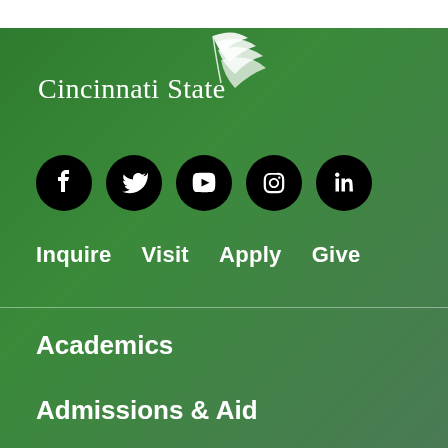[Figure (logo): Cincinnati State logo with stylized feather/leaf above text]
[Figure (infographic): Row of 5 social media icons (Facebook, Twitter, YouTube, Instagram, LinkedIn) as white icons on black circles]
Inquire   Visit   Apply   Give
Academics
Admissions & Aid